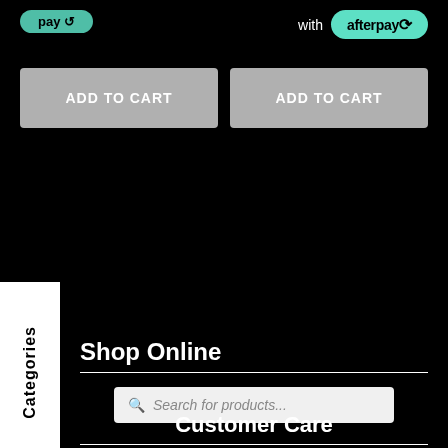[Figure (screenshot): Partial afterpay pill button on top left (mint green, partially visible)]
with afterpay
ADD TO CART
ADD TO CART
Categories
Shop Online
Search for products...
Customer Care